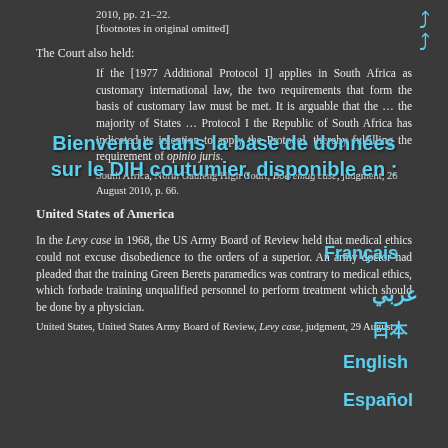2010, pp. 21–22.
[footnotes in original omitted]
The Court also held:
If the [1977 Additional Protocol I] applies in South Africa as customary international law, the two requirements that form the basis of customary law must be met. It is arguable that the ... the majority of States ... Protocol I the Republic of South Africa has indicated its intention to apply the Protocol, thereby fulfilling the requirement of opinio juris.
South Africa, North Gauteng High Court, Boeremag case, judgment, 26 August 2010, p. 66.
United States of America
In the Levy case in 1968, the US Army Board of Review held that medical ethics could not excuse disobedience to the orders of a superior. An army doctor had pleaded that the training Green Berets paramedics was contrary to medical ethics, which forbade training unqualified personnel to perform treatment which should be done by a physician.
United States, United States Army Board of Review, Levy case, judgment, 29 August